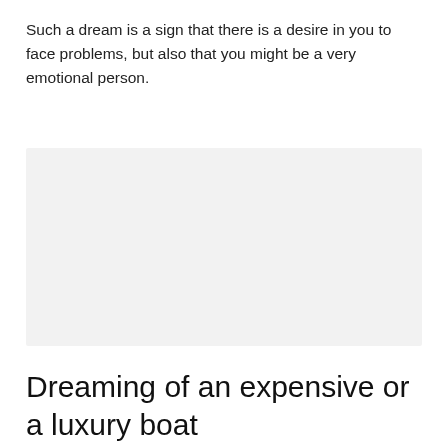Such a dream is a sign that there is a desire in you to face problems, but also that you might be a very emotional person.
[Figure (other): Light gray rectangular placeholder image]
Dreaming of an expensive or a luxury boat